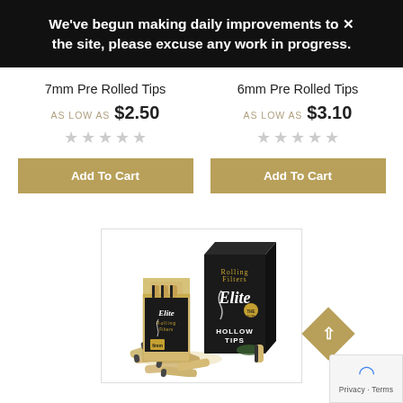We've begun making daily improvements to × the site, please excuse any work in progress.
7mm Pre Rolled Tips
AS LOW AS $2.50
6mm Pre Rolled Tips
AS LOW AS $3.10
Add To Cart
Add To Cart
[Figure (photo): Two Elite Rolling Filters product boxes (hollow tips) with pre-rolled filter tips scattered in front, on a white background inside a bordered frame.]
Privacy - Terms